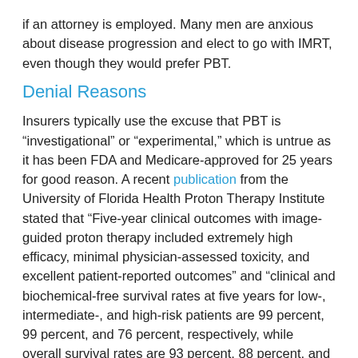if an attorney is employed. Many men are anxious about disease progression and elect to go with IMRT, even though they would prefer PBT.
Denial Reasons
Insurers typically use the excuse that PBT is “investigational” or “experimental,” which is untrue as it has been FDA and Medicare-approved for 25 years for good reason. A recent publication from the University of Florida Health Proton Therapy Institute stated that “Five-year clinical outcomes with image-guided proton therapy included extremely high efficacy, minimal physician-assessed toxicity, and excellent patient-reported outcomes” and “clinical and biochemical-free survival rates at five years for low-, intermediate-, and high-risk patients are 99 percent, 99 percent, and 76 percent, respectively, while overall survival rates are 93 percent, 88 percent, and 90 percent.” In addition, the rate of rectal toxicity from PBT is less than from IMRT, according to Colaco, et al.